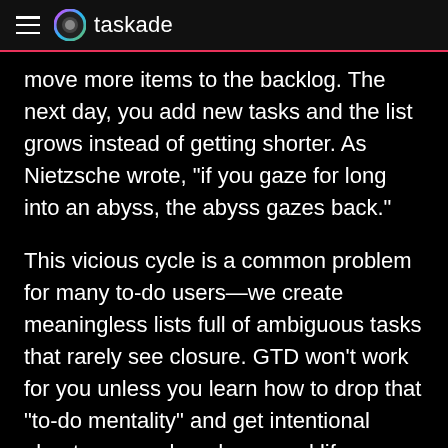taskade
move more items to the backlog. The next day, you add new tasks and the list grows instead of getting shorter. As Nietzsche wrote, “if you gaze for long into an abyss, the abyss gazes back.”
This vicious cycle is a common problem for many to-do users—we create meaningless lists full of ambiguous tasks that rarely see closure. GTD won’t work for you unless you learn how to drop that “to-do mentality” and get intentional about your work and personal life.
Finally, let’s not forget that Getting Things Done® is